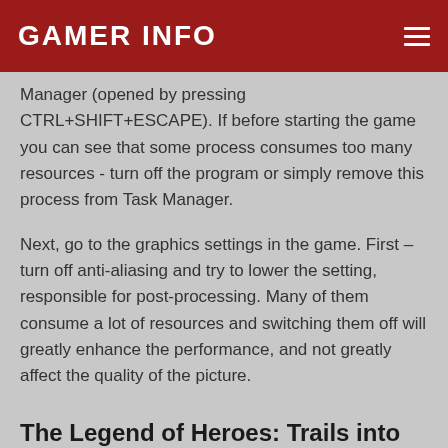GAMER INFO
Manager (opened by pressing CTRL+SHIFT+ESCAPE). If before starting the game you can see that some process consumes too many resources - turn off the program or simply remove this process from Task Manager.
Next, go to the graphics settings in the game. First – turn off anti-aliasing and try to lower the setting, responsible for post-processing. Many of them consume a lot of resources and switching them off will greatly enhance the performance, and not greatly affect the quality of the picture.
The Legend of Heroes: Trails into Reverie crashes to the desktop
If The Legend of Heroes: Trails into Reverie often crashes to the desktop, try to reduce quality of the graphics. It is possible that your PC just does not have enough performance and the game may not work